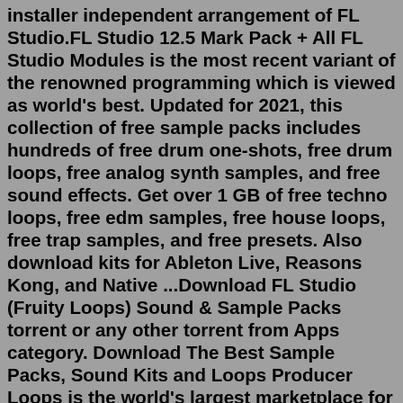installer independent arrangement of FL Studio.FL Studio 12.5 Mark Pack + All FL Studio Modules is the most recent variant of the renowned programming which is viewed as world's best. Updated for 2021, this collection of free sample packs includes hundreds of free drum one-shots, free drum loops, free analog synth samples, and free sound effects. Get over 1 GB of free techno loops, free edm samples, free house loops, free trap samples, and free presets. Also download kits for Ableton Live, Reasons Kong, and Native ...Download FL Studio (Fruity Loops) Sound & Sample Packs torrent or any other torrent from Apps category. Download The Best Sample Packs, Sound Kits and Loops Producer Loops is the world's largest marketplace for music production sample packs.Free. Browse our collection of free samples, loops, sample packs, royalty free sound libraries and synth presets. All free samples, presets & instruments are available to download 100% royalty free for use in your music production or sound design project. Mood Genre Instrument Format. Download fl studio